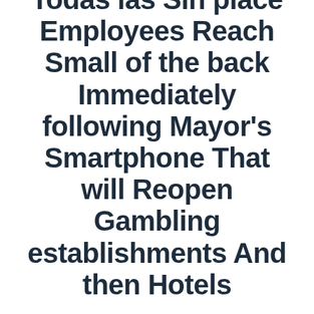Todas las Sin place Employees Reach Small of the back Immediately following Mayor's Smartphone That will Reopen Gambling establishments And then Hotels
ADMIN   AUGUST 22, 2020   MAIN